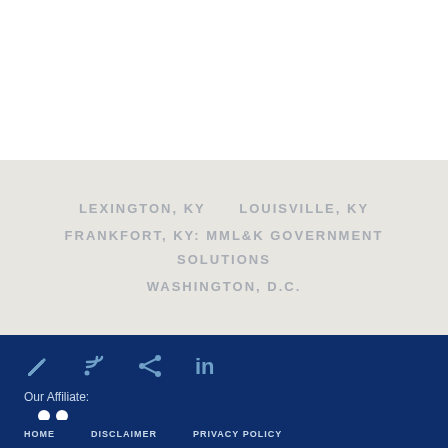LEXINGTON, KY     LOUISVILLE, KY
FRANKFORT, KY: MML&K GOVERNMENT SOLUTIONS
WASHINGTON, D.C.
[Figure (other): Social media icons: pencil/blog, RSS feed, share, LinkedIn]
Our Affiliate:
[Figure (logo): MML&K Government Solutions logo on dark blue background]
HOME    DISCLAIMER    PRIVACY POLICY